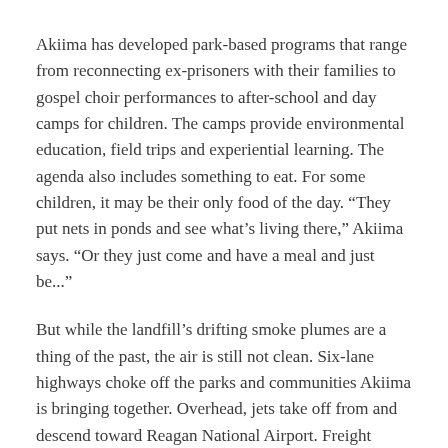Akiima has developed park-based programs that range from reconnecting ex-prisoners with their families to gospel choir performances to after-school and day camps for children. The camps provide environmental education, field trips and experiential learning. The agenda also includes something to eat. For some children, it may be their only food of the day. “They put nets in ponds and see what’s living there,” Akiima says. “Or they just come and have a meal and just be...”
But while the landfill’s drifting smoke plumes are a thing of the past, the air is still not clean. Six-lane highways choke off the parks and communities Akiima is bringing together. Overhead, jets take off from and descend toward Reagan National Airport. Freight trains rumble between rowhouses. Trucks downshift into industrial sites next to apartments and churches.